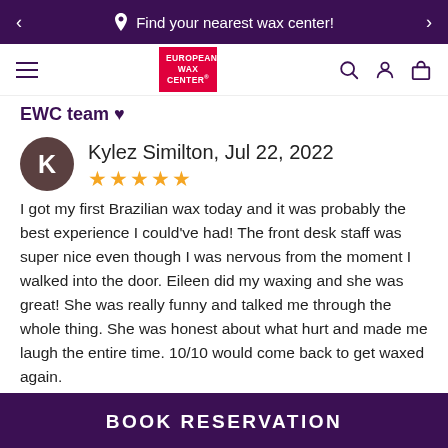Find your nearest wax center!
[Figure (logo): European Wax Center logo — red rectangle with white text EUROPEAN WAX CENTER]
EWC team ♥
Kylez Similton, Jul 22, 2022
★★★★★
I got my first Brazilian wax today and it was probably the best experience I could've had! The front desk staff was super nice even though I was nervous from the moment I walked into the door. Eileen did my waxing and she was great! She was really funny and talked me through the whole thing. She was honest about what hurt and made me laugh the entire time. 10/10 would come back to get waxed again.
BOOK RESERVATION